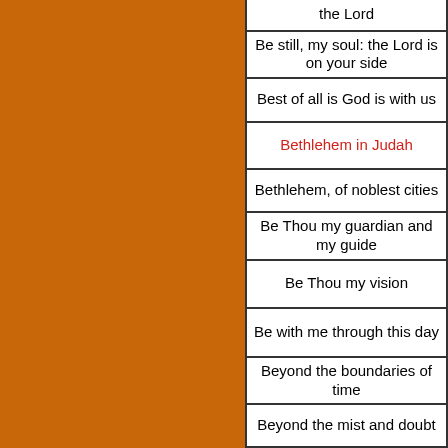[Figure (other): Orange/brown colored rectangular panel on the left side of the page]
the Lord
Be still, my soul: the Lord is on your side
Best of all is God is with us
Bethlehem in Judah
Bethlehem, of noblest cities
Be Thou my guardian and my guide
Be Thou my vision
Be with me through this day
Beyond the boundaries of time
Beyond the mist and doubt